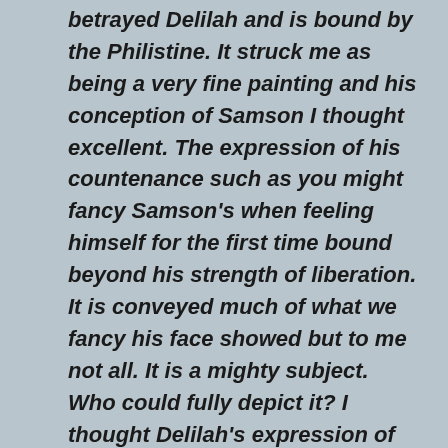betrayed Delilah and is bound by the Philistine. It struck me as being a very fine painting and his conception of Samson I thought excellent. The expression of his countenance such as you might fancy Samson's when feeling himself for the first time bound beyond his strength of liberation. It is conveyed much of what we fancy his face showed but to me not all. It is a mighty subject. Who could fully depict it? I thought Delilah's expression of countenance very good, very descriptive – the expression of the